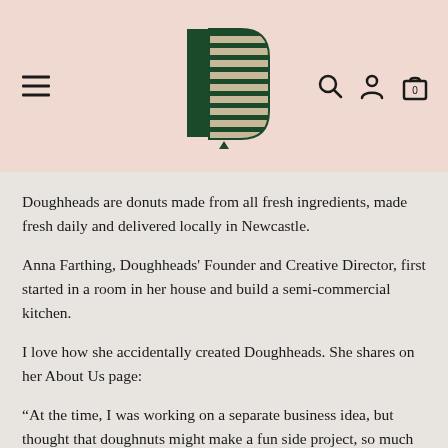[Figure (logo): Doughheads logo: stylized geometric 'D' shape made of horizontal stripes in dark green, with a hexagonal outline. Navigation bar with hamburger menu on left, logo centered, search/account/cart icons on right.]
Doughheads are donuts made from all fresh ingredients, made fresh daily and delivered locally in Newcastle.
Anna Farthing, Doughheads' Founder and Creative Director, first started in a room in her house and build a semi-commercial kitchen.
I love how she accidentally created Doughheads. She shares on her About Us page:
“At the time, I was working on a separate business idea, but thought that doughnuts might make a fun side project, so much for that idea!”